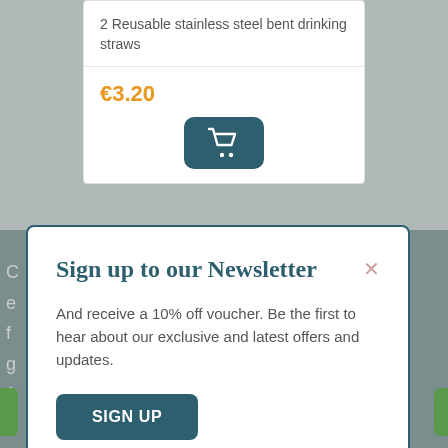2 Reusable stainless steel bent drinking straws
€3.20
[Figure (other): Shopping cart icon button (dark teal rounded rectangle with white cart icon)]
Sign up to our Newsletter
And receive a 10% off voucher. Be the first to hear about our exclusive and latest offers and updates.
SIGN UP